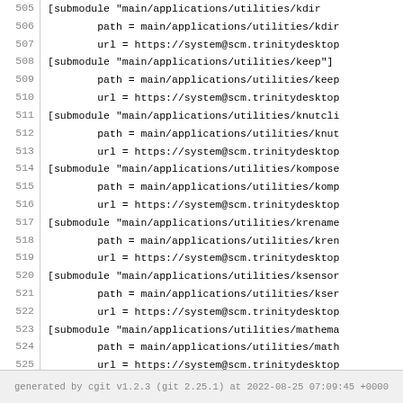Code listing lines 505-531 showing git submodule configuration entries for main/applications/utilities and packaging
generated by cgit v1.2.3 (git 2.25.1) at 2022-08-25 07:09:45 +0000